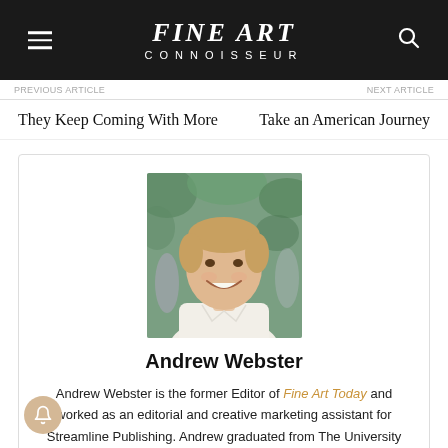FINE ART CONNOISSEUR
They Keep Coming With More    Take an American Journey
[Figure (photo): Headshot photo of Andrew Webster, a young man in a white shirt, smiling, with green foliage in the background]
Andrew Webster
Andrew Webster is the former Editor of Fine Art Today and worked as an editorial and creative marketing assistant for Streamline Publishing. Andrew graduated from The University of North Carolina at Asheville with a B.A. in Art History and Ceramics. He then moved on to the University of Oregon, where he completed an M.A. in Art History. Studying under scholar Kathleen Nicholson, he completed